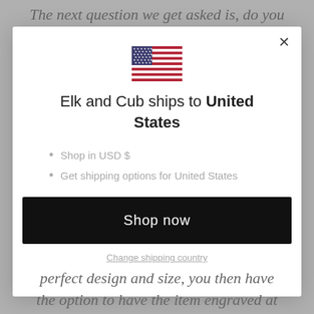The next question we get asked is, do you
[Figure (illustration): US flag emoji/icon centered in modal dialog]
Elk and Cub ships to United States
Shop in USD $
Get shipping options for United States
Shop now
Change shipping country
perfect design and size, you then have the option to have the item engraved at